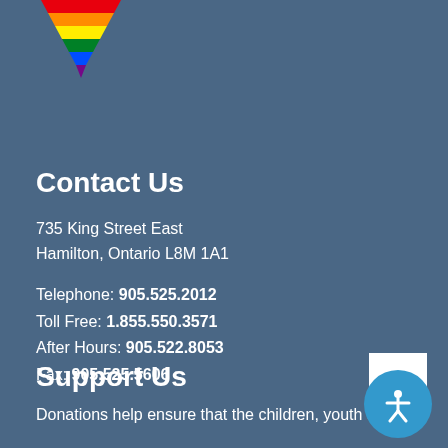[Figure (logo): Rainbow/pride colored downward-pointing triangle logo]
Contact Us
735 King Street East
Hamilton, Ontario L8M 1A1
Telephone: 905.525.2012
Toll Free: 1.855.550.3571
After Hours: 905.522.8053
Fax: 905.525.5606
Support Us
Donations help ensure that the children, youth and